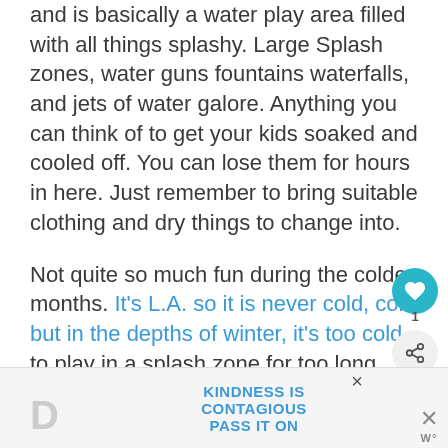and is basically a water play area filled with all things splashy. Large Splash zones, water guns fountains waterfalls, and jets of water galore. Anything you can think of to get your kids soaked and cooled off. You can lose them for hours in here. Just remember to bring suitable clothing and dry things to change into.
Not quite so much fun during the colder months. It's L.A. so it is never cold, cold but in the depths of winter, it's too cold to play in a splash zone for too long. Even in spring, we tend to avoid the water rides.
KINDNESS IS CONTAGIOUS PASS IT ON